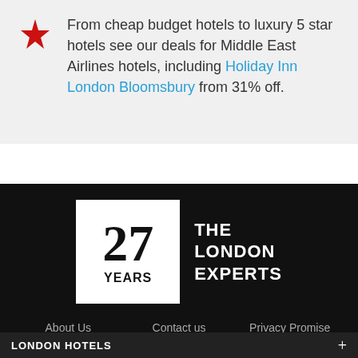From cheap budget hotels to luxury 5 star hotels see our deals for Middle East Airlines hotels, including Holiday Inn London Bloomsbury from 31% off.
[Figure (logo): 27 YEARS THE LONDON EXPERTS badge logo — white box with '27' in large bold serif, 'YEARS' below, and 'THE LONDON EXPERTS' text to the right on black background]
About Us
Contact us
Privacy Promise
Terms Of Service
Cookie Policy
Site Map
© 1995 - 2022 LondonTown.com